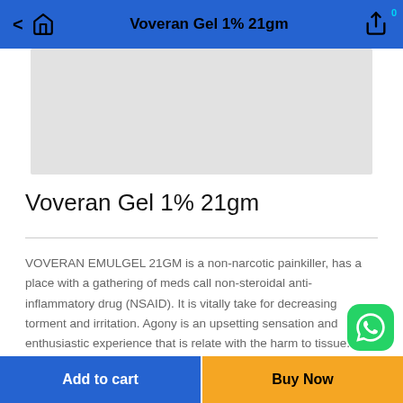Voveran Gel 1% 21gm
[Figure (photo): Product image placeholder for Voveran Gel 1% 21gm — light grey background]
Voveran Gel 1% 21gm
VOVERAN EMULGEL 21GM is a non-narcotic painkiller, has a place with a gathering of meds call non-steroidal anti-inflammatory drug (NSAID). It is vitally take for decreasing torment and irritation. Agony is an upsetting sensation and enthusiastic experience that is relate with the harm to tissue.